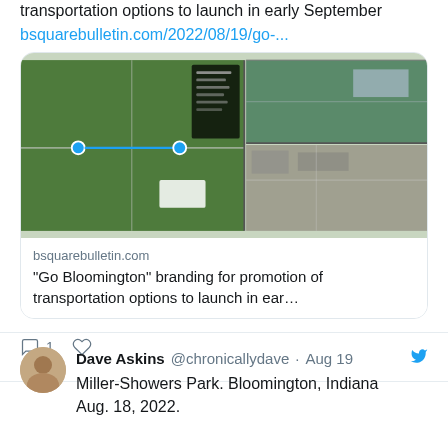transportation options to launch in early September
bsquarebulletin.com/2022/08/19/go-...
[Figure (screenshot): Link preview card showing aerial map imagery of Bloomington and a person speaking at a podium, with domain bsquarebulletin.com and title "Go Bloomington" branding for promotion of transportation options to launch in ear...]
1
Dave Askins @chronicallydave · Aug 19
Miller-Showers Park. Bloomington, Indiana
Aug. 18, 2022.